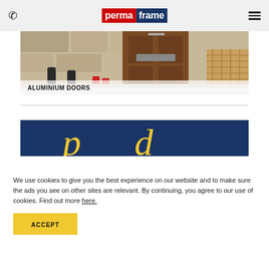permaframe – header with phone icon and menu icon
[Figure (photo): Hero image of a doorstep scene with wellington boots, logs, a wooden door, and wicker basket. Overlaid with 'ALUMINIUM DOORS' text banner.]
[Figure (illustration): Dark blue banner with yellow/gold cursive/script lettering partially visible]
We use cookies to give you the best experience on our website and to make sure the ads you see on other sites are relevant. By continuing, you agree to our use of cookies. Find out more here.
ACCEPT